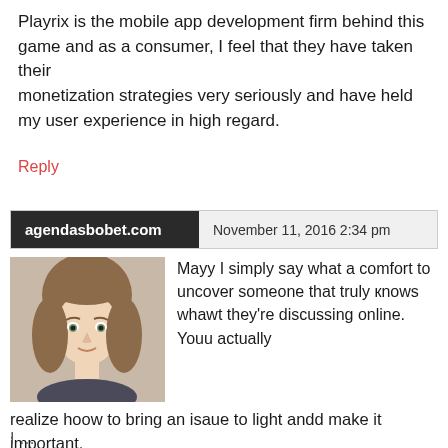Playrix is the mobile app development firm behind this game and as a consumer, I feel that they have taken their monetization strategies very seriously and have held my user experience in high regard.
Reply
agendasbobet.com   November 11, 2016 2:34 pm
[Figure (photo): Profile photo of a young woman with light brown hair]
Mayy I simply say what a comfort to uncover someone that truly кnows whawt they’re discussing online. Youu actually realize hoow to bring an isaue to light andd make it important.
A lot more people must look at this αnd understand thijs sside of your story.
I …